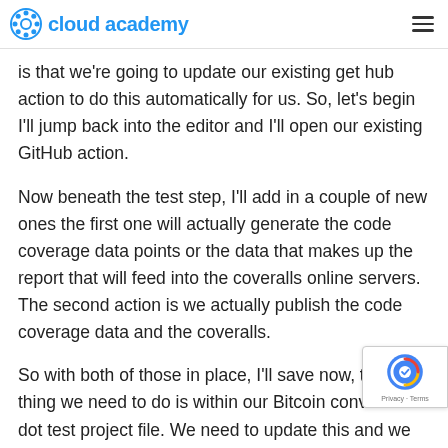cloud academy
is that we're going to update our existing get hub action to do this automatically for us. So, let's begin I'll jump back into the editor and I'll open our existing GitHub action.
Now beneath the test step, I'll add in a couple of new ones the first one will actually generate the code coverage data points or the data that makes up the report that will feed into the coveralls online servers. The second action is we actually publish the code coverage data and the coveralls.
So with both of those in place, I'll save now, the other thing we need to do is within our Bitcoin converter dot test project file. We need to update this and we need to add in another reference. So the exact update that we need to put in is found here so on branch nine, we scroll down we grab this